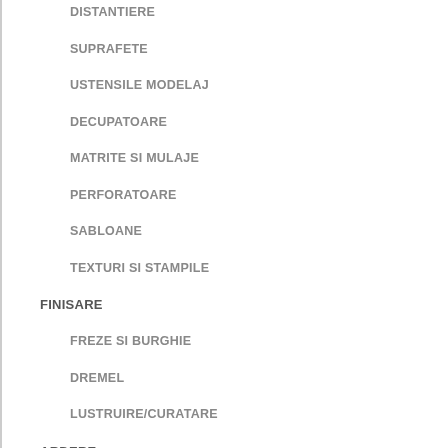DISTANTIERE
SUPRAFETE
USTENSILE MODELAJ
DECUPATOARE
MATRITE SI MULAJE
PERFORATOARE
SABLOANE
TEXTURI SI STAMPILE
FINISARE
FREZE SI BURGHIE
DREMEL
LUSTRUIRE/CURATARE
ARDERE
CUPTOARE SI ARZATOARE
SUPRAFETE SI ACCESORII